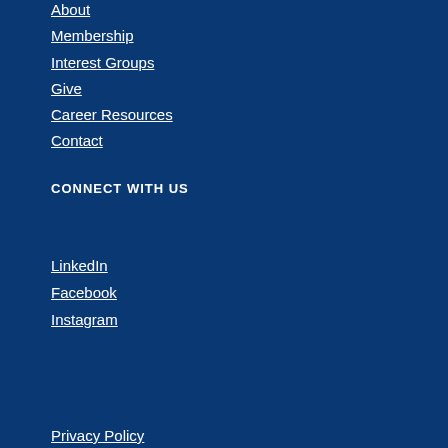About
Membership
Interest Groups
Give
Career Resources
Contact
CONNECT WITH US
LinkedIn
Facebook
Instagram
Privacy Policy